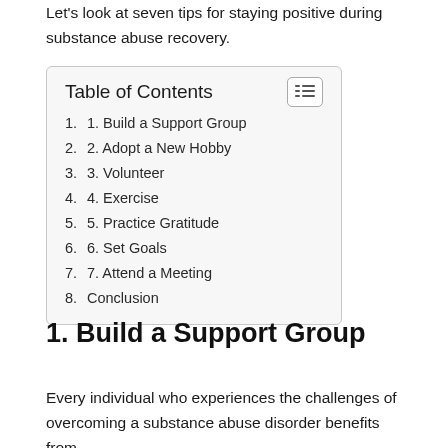Let's look at seven tips for staying positive during substance abuse recovery.
1. 1. Build a Support Group
2. 2. Adopt a New Hobby
3. 3. Volunteer
4. 4. Exercise
5. 5. Practice Gratitude
6. 6. Set Goals
7. 7. Attend a Meeting
8. Conclusion
1. Build a Support Group
Every individual who experiences the challenges of overcoming a substance abuse disorder benefits from